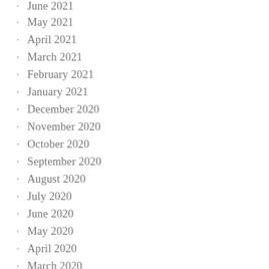June 2021
May 2021
April 2021
March 2021
February 2021
January 2021
December 2020
November 2020
October 2020
September 2020
August 2020
July 2020
June 2020
May 2020
April 2020
March 2020
February 2020